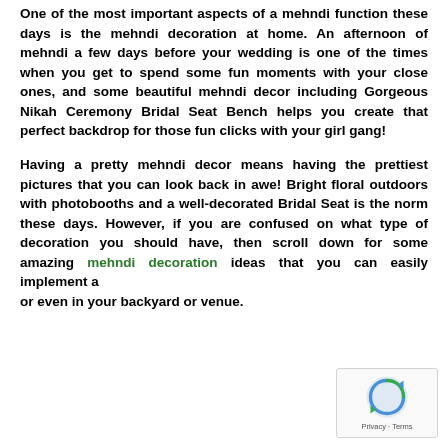One of the most important aspects of a mehndi function these days is the mehndi decoration at home. An afternoon of mehndi a few days before your wedding is one of the times when you get to spend some fun moments with your close ones, and some beautiful mehndi decor including Gorgeous Nikah Ceremony Bridal Seat Bench helps you create that perfect backdrop for those fun clicks with your girl gang!
Having a pretty mehndi decor means having the prettiest pictures that you can look back in awe! Bright floral outdoors with photobooths and a well-decorated Bridal Seat is the norm these days. However, if you are confused on what type of decoration you should have, then scroll down for some amazing mehndi decoration ideas that you can easily implement at home, or even in your backyard or venue.